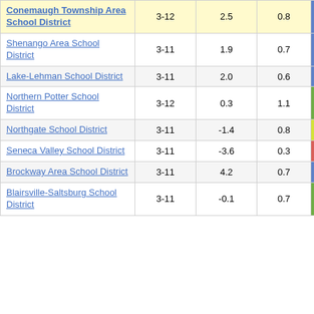| School District | Grades | Col3 | Col4 | Score |
| --- | --- | --- | --- | --- |
| Conemaugh Township Area School District | 3-12 | 2.5 | 0.8 | 3.18 |
| Shenango Area School District | 3-11 | 1.9 | 0.7 | 2.73 |
| Lake-Lehman School District | 3-11 | 2.0 | 0.6 | 3.41 |
| Northern Potter School District | 3-12 | 0.3 | 1.1 | 0.26 |
| Northgate School District | 3-11 | -1.4 | 0.8 | -1.68 |
| Seneca Valley School District | 3-11 | -3.6 | 0.3 | -12.57 |
| Brockway Area School District | 3-11 | 4.2 | 0.7 | 5.89 |
| Blairsville-Saltsburg School District | 3-11 | -0.1 | 0.7 | -0.15 |